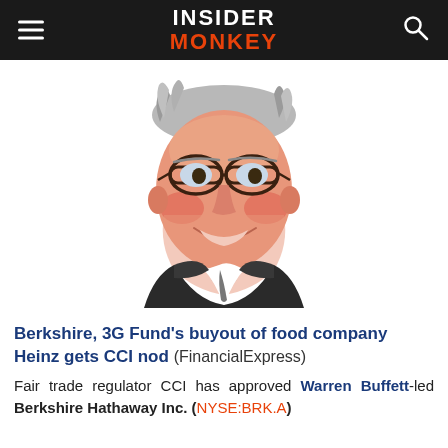INSIDER MONKEY
[Figure (illustration): Caricature illustration of Warren Buffett — an elderly man with large glasses, rosy cheeks, gray hair, and a suit, rendered in a colorful cartoon/caricature style on a white background.]
Berkshire, 3G Fund's buyout of food company Heinz gets CCI nod (FinancialExpress)
Fair trade regulator CCI has approved Warren Buffett-led Berkshire Hathaway Inc. (NYSE:BRK.A)